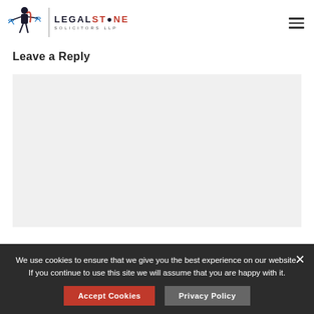[Figure (logo): Legalstone Solicitors LLP logo with a figure holding scales of justice and the text LEGALSTONE SOLICITORS LLP]
Leave a Reply
[Figure (screenshot): Empty gray comment/reply text area input box]
We use cookies to ensure that we give you the best experience on our website. If you continue to use this site we will assume that you are happy with it.
Accept Cookies
Privacy Policy